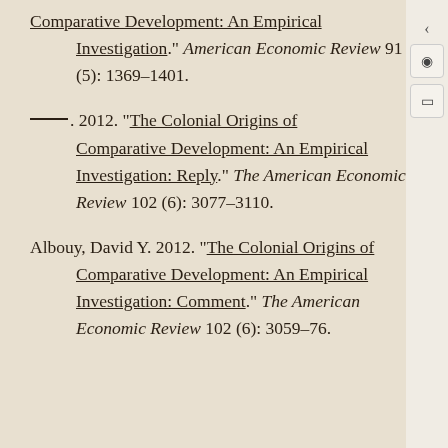Comparative Development: An Empirical Investigation." American Economic Review 91 (5): 1369–1401.
———. 2012. "The Colonial Origins of Comparative Development: An Empirical Investigation: Reply." The American Economic Review 102 (6): 3077–3110.
Albouy, David Y. 2012. "The Colonial Origins of Comparative Development: An Empirical Investigation: Comment." The American Economic Review 102 (6): 3059–76.